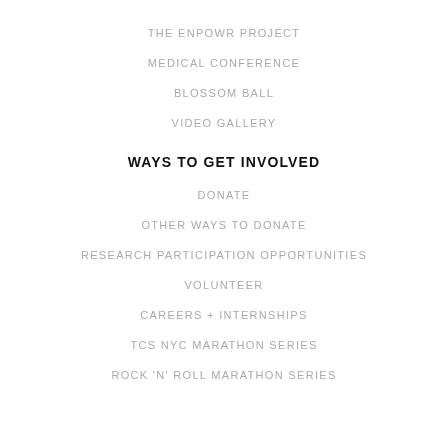THE ENPOWR PROJECT
MEDICAL CONFERENCE
BLOSSOM BALL
VIDEO GALLERY
WAYS TO GET INVOLVED
DONATE
OTHER WAYS TO DONATE
RESEARCH PARTICIPATION OPPORTUNITIES
VOLUNTEER
CAREERS + INTERNSHIPS
TCS NYC MARATHON SERIES
ROCK 'N' ROLL MARATHON SERIES